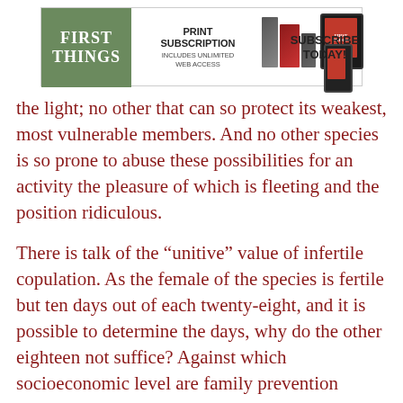[Figure (other): First Things magazine advertisement banner with green logo on left, print subscription text in center, book and device images, and 'Subscribe Today!' on right]
the light; no other that can so protect its weakest, most vulnerable members. And no other species is so prone to abuse these possibilities for an activity the pleasure of which is fleeting and the position ridiculous.
There is talk of the “unitive” value of infertile copulation. As the female of the species is fertile but ten days out of each twenty-eight, and it is possible to determine the days, why do the other eighteen not suffice? Against which socioeconomic level are family prevention programs aimed? Why does population control sound like a police action? What is this erotic religion that promotes lust and forbids fertility? Have